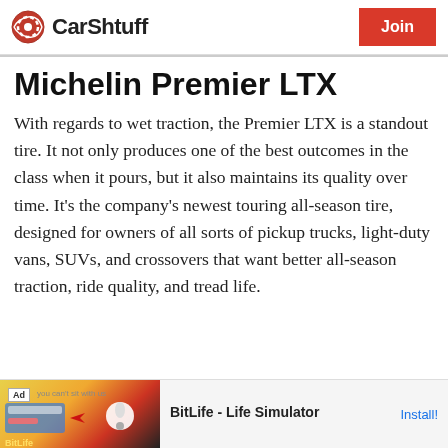CarShtuff | Join
Michelin Premier LTX
With regards to wet traction, the Premier LTX is a standout tire. It not only produces one of the best outcomes in the class when it pours, but it also maintains its quality over time. It's the company's newest touring all-season tire, designed for owners of all sorts of pickup trucks, light-duty vans, SUVs, and crossovers that want better all-season traction, ride quality, and tread life.
[Figure (infographic): BitLife - Life Simulator advertisement banner with colorful game imagery and Install! call to action]